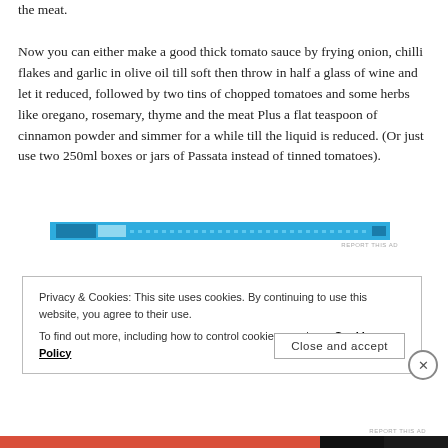the meat.
Now you can either make a good thick tomato sauce by frying onion, chilli flakes and garlic in olive oil till soft then throw in half a glass of wine and let it reduced, followed by two tins of chopped tomatoes and some herbs like oregano, rosemary, thyme and the meat Plus a flat teaspoon of cinnamon powder and simmer for a while till the liquid is reduced. (Or just use two 250ml boxes or jars of Passata instead of tinned tomatoes).
[Figure (other): Blue advertisement banner bar]
REPORT THIS AD
Privacy & Cookies: This site uses cookies. By continuing to use this website, you agree to their use.
To find out more, including how to control cookies, see here: Cookie Policy
Close and accept